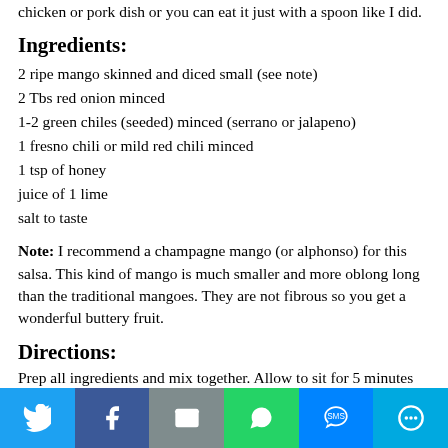chicken or pork dish or you can eat it just with a spoon like I did.
Ingredients:
2 ripe mango skinned and diced small (see note)
2 Tbs red onion minced
1-2 green chiles (seeded) minced (serrano or jalapeno)
1 fresno chili or mild red chili minced
1 tsp of honey
juice of 1 lime
salt to taste
Note:  I recommend a champagne mango (or alphonso) for this salsa. This kind of mango is much smaller and more oblong long than the traditional mangoes.  They are not fibrous so you get a wonderful buttery fruit.
Directions:
Prep all ingredients and mix together. Allow to sit for 5 minutes